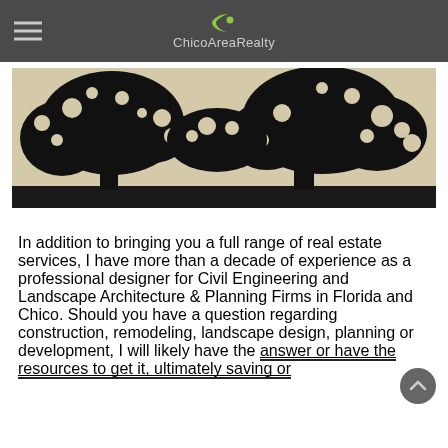ChicoAreaRealty
[Figure (illustration): Black silhouette of two large oak trees with spreading canopies against a light beige/tan background, painted or printed artwork style]
In addition to bringing you a full range of real estate services, I have more than a decade of experience as a professional designer for Civil Engineering and Landscape Architecture & Planning Firms in Florida and Chico. Should you have a question regarding construction, remodeling, landscape design, planning or development, I will likely have the answer or have the resources to get it, ultimately saving or